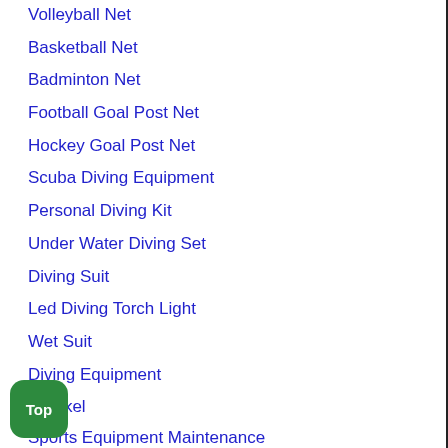Volleyball Net
Basketball Net
Badminton Net
Football Goal Post Net
Hockey Goal Post Net
Scuba Diving Equipment
Personal Diving Kit
Under Water Diving Set
Diving Suit
Led Diving Torch Light
Wet Suit
Diving Equipment
Snorkel
Sports Equipment Maintenance
Treadmill Repair